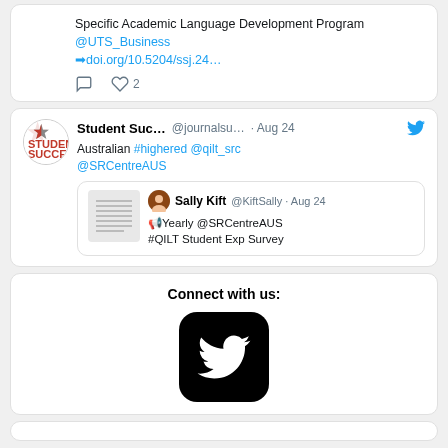Specific Academic Language Development Program @UTS_Business ➡doi.org/10.5204/ssj.24...
Student Suc... @journalsu... · Aug 24 Australian #highered @qilt_src @SRCentreAUS
Sally Kift @KiftSally · Aug 24 📢Yearly @SRCentreAUS #QILT Student Exp Survey
Connect with us:
[Figure (logo): Twitter bird logo on black rounded square background]